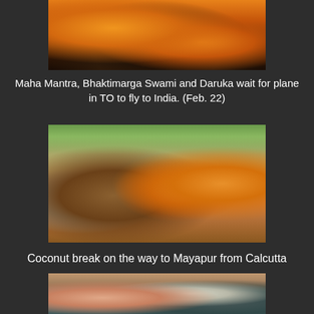[Figure (photo): Close-up photo of orange saffron robes, showing fabric folds in detail]
Maha Mantra, Bhaktimarga Swami and Daruka wait for plane in TO to fly to India. (Feb. 22)
[Figure (photo): Outdoor scene on a road in India. A bald monk in orange robes and a person in orange head covering stand near a car. Two local men, one with a bicycle, approach them. Trees and a road with vehicles visible in background.]
Coconut break on the way to Mayapur from Calcutta
[Figure (photo): Indoor scene showing a person in pink/orange head covering in left foreground, and other people seated in a room with a fan visible on the ceiling. Buildings visible through windows in background.]